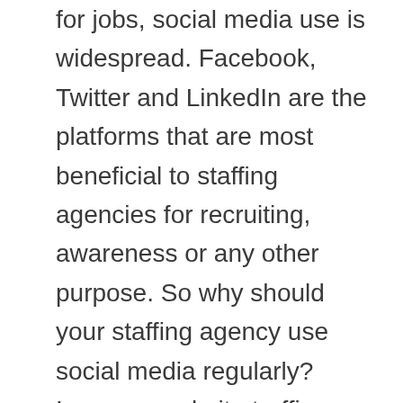for jobs, social media use is widespread. Facebook, Twitter and LinkedIn are the platforms that are most beneficial to staffing agencies for recruiting, awareness or any other purpose. So why should your staffing agency use social media regularly? Increase website traffic Social media increases the number of visitors to your website every day, as long as you are sharing interesting content. If you're wondering about Social Media Agency Pricing, visit ouigrowth.com who have lots of information that could help. Staffing agencies should post recruiting videos and blog content to their social channels at least weekly. Without social media, your website traffic is limited to visitors who are already familiar with your agency. Instagram is a good way to go, on [...]